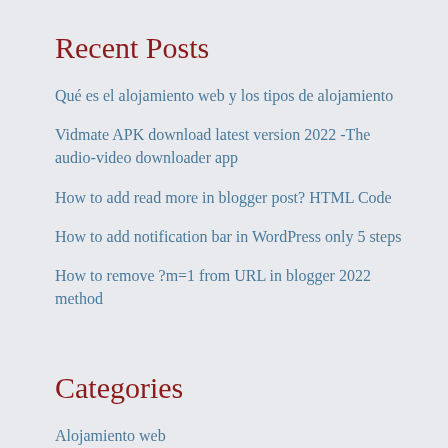Recent Posts
Qué es el alojamiento web y los tipos de alojamiento
Vidmate APK download latest version 2022 -The audio-video downloader app
How to add read more in blogger post? HTML Code
How to add notification bar in WordPress only 5 steps
How to remove ?m=1 from URL in blogger 2022 method
Categories
Alojamiento web
Android App